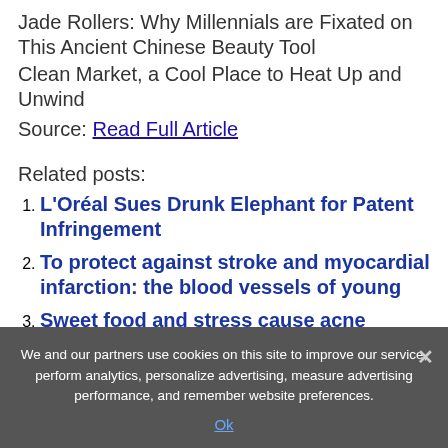Jade Rollers: Why Millennials are Fixated on This Ancient Chinese Beauty Tool
Clean Market, a Cool Place to Heat Up and Unwind
Source: Read Full Article
Related posts:
L'Oréal Sues Drunk Elephant for Patent Infringement
To protect against stroke and myocardial infarction: the blood vessels of young
Sweet food and stress cause acne (pimples on face)
We and our partners use cookies on this site to improve our service, perform analytics, personalize advertising, measure advertising performance, and remember website preferences.
Ok